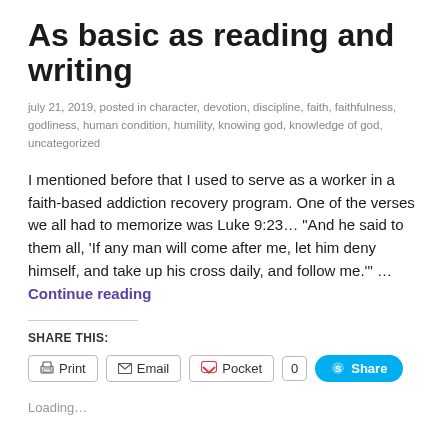As basic as reading and writing
july 21, 2019, posted in character, devotion, discipline, faith, faithfulness, godliness, human condition, humility, knowing god, knowledge of god, uncategorized
I mentioned before that I used to serve as a worker in a faith-based addiction recovery program. One of the verses we all had to memorize was Luke 9:23… "And he said to them all, 'If any man will come after me, let him deny himself, and take up his cross daily, and follow me.'" … Continue reading
SHARE THIS:
Print  Email  Pocket  0  Share
Loading…